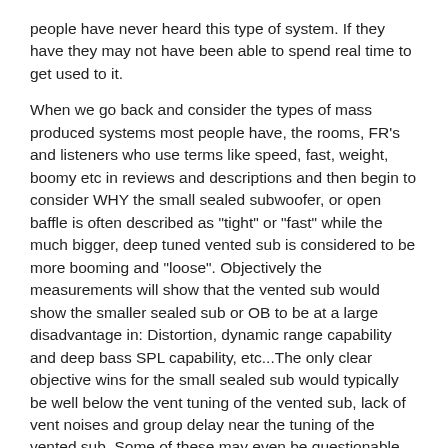people have never heard this type of system. If they have they may not have been able to spend real time to get used to it.
When we go back and consider the types of mass produced systems most people have, the rooms, FR's and listeners who use terms like speed, fast, weight, boomy etc in reviews and descriptions and then begin to consider WHY the small sealed subwoofer, or open baffle is often described as "tight" or "fast" while the much bigger, deep tuned vented sub is considered to be more booming and "loose". Objectively the measurements will show that the vented sub would show the smaller sealed sub or OB to be at a large disadvantage in: Distortion, dynamic range capability and deep bass SPL capability, etc...The only clear objective wins for the small sealed sub would typically be well below the vent tuning of the vented sub, lack of vent noises and group delay near the tuning of the vented sub. Some of these may even be questionable advantages depending on the DSP applied to the sealed sub and the particular vented sub in question.
The question isn't whether these subjective terms are right or wrong but why / when they are used. My opinion is that it is not directly related to the size of the system, the particular loudspeaker